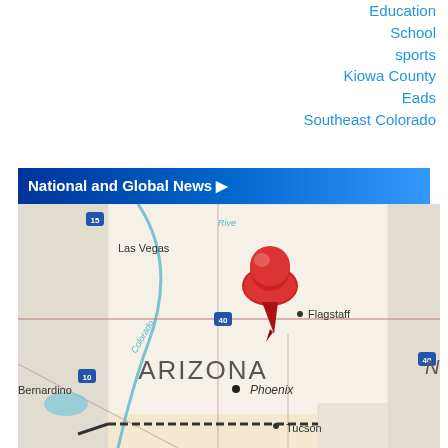Education
School sports
Kiowa County
Eads
Southeast Colorado
National and Global News ▶
[Figure (map): Map of Arizona showing Las Vegas to the northwest, Flagstaff to the northeast, Phoenix in the center, Tucson to the south, and San Bernardino to the west. A red map pin is placed near the center-north of Arizona near Flagstaff. Interstate highways 10, 15, and 40 are marked. The Colorado River is labeled running diagonally. 'ARIZONA' is printed large in the center of the state.]